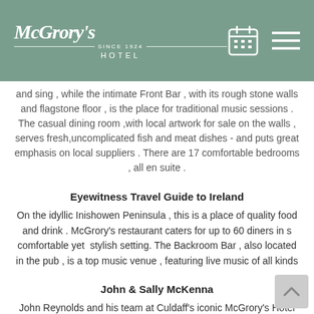McGrory's Since 1924 Hotel
and sing , while the intimate Front Bar , with its rough stone walls and flagstone floor , is the place for traditional music sessions . The casual dining room ,with local artwork for sale on the walls , serves fresh,uncomplicated fish and meat dishes - and puts great emphasis on local suppliers . There are 17 comfortable bedrooms , all en suite .
Eyewitness Travel Guide to Ireland
On the idyllic Inishowen Peninsula , this is a place of quality food and drink . McGrory's restaurant caters for up to 60 diners in s comfortable yet  stylish setting. The Backroom Bar , also located in the pub , is a top music venue , featuring live music of all kinds
John & Sally McKenna
John Reynolds and his team at Culdaff's iconic McGrory's Hotel love to surprise us all.
You might turn up here just to enjoy a few days relaxation, and to